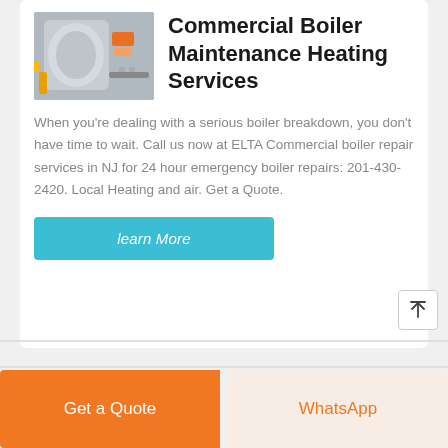[Figure (photo): Industrial commercial boiler unit in a facility setting, with orange/red and grey components.]
Commercial Boiler Maintenance Heating Services
When you're dealing with a serious boiler breakdown, you don't have time to wait. Call us now at ELTA Commercial boiler repair services in NJ for 24 hour emergency boiler repairs: 201-430-2420. Local Heating and air. Get a Quote.
learn More
Get a Quote
WhatsApp